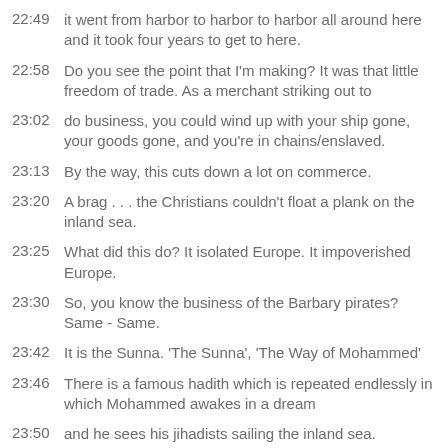22:49  it went from harbor to harbor to harbor all around here and it took four years to get to here.
22:58  Do you see the point that I'm making? It was that little freedom of trade. As a merchant striking out to
23:02  do business, you could wind up with your ship gone, your goods gone, and you're in chains/enslaved.
23:13  By the way, this cuts down a lot on commerce.
23:20  A brag . . . the Christians couldn't float a plank on the inland sea.
23:25  What did this do? It isolated Europe. It impoverished Europe.
23:30  So, you know the business of the Barbary pirates? Same - Same.
23:42  It is the Sunna. 'The Sunna', 'The Way of Mohammed'
23:46  There is a famous hadith which is repeated endlessly in which Mohammed awakes in a dream
23:50  and he sees his jihadists sailing the inland sea.